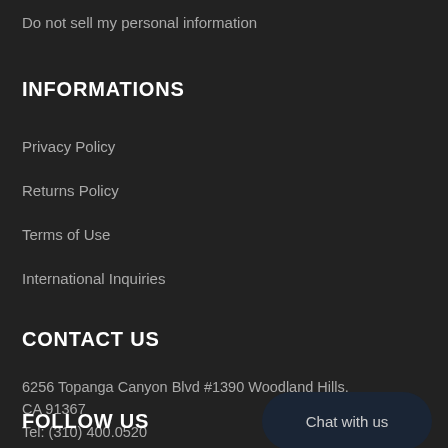Do not sell my personal information
INFORMATIONS
Privacy Policy
Returns Policy
Terms of Use
International Inquiries
CONTACT US
6256 Topanga Canyon Blvd #1390 Woodland Hills, CA 91367
Tel: (310) 400.0520
Email: sales@dynamictone.com
Chat with us
FOLLOW US